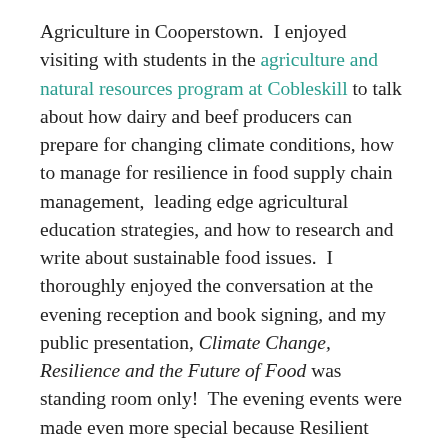Agriculture in Cooperstown. I enjoyed visiting with students in the agriculture and natural resources program at Cobleskill to talk about how dairy and beef producers can prepare for changing climate conditions, how to manage for resilience in food supply chain management, leading edge agricultural education strategies, and how to research and write about sustainable food issues. I thoroughly enjoyed the conversation at the evening reception and book signing, and my public presentation, Climate Change, Resilience and the Future of Food was standing room only! The evening events were made even more special because Resilient Agriculture farmers Jim and Adele Hayes were able to attend. I also enjoyed a visit with Jim and Adele at Sap Bush Hollow Farm to catch up on all the latest news, including their